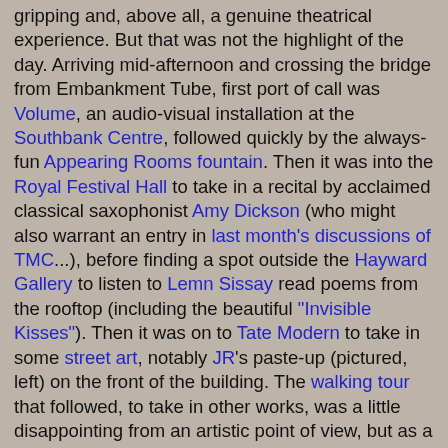gripping and, above all, a genuine theatrical experience. But that was not the highlight of the day. Arriving mid-afternoon and crossing the bridge from Embankment Tube, first port of call was Volume, an audio-visual installation at the Southbank Centre, followed quickly by the always-fun Appearing Rooms fountain. Then it was into the Royal Festival Hall to take in a recital by acclaimed classical saxophonist Amy Dickson (who might also warrant an entry in last month's discussions of TMC...), before finding a spot outside the Hayward Gallery to listen to Lemn Sissay read poems from the rooftop (including the beautiful "Invisible Kisses"). Then it was on to Tate Modern to take in some street art, notably JR's paste-up (pictured, left) on the front of the building. The walking tour that followed, to take in other works, was a little disappointing from an artistic point of view, but as a means of exploring the streets of Southwark it was fascinating. Particularly interesting was the Cross Bones Graveyard, an unconsecrated cemetary, once the last resting place of prostitutes, or "Winchester geese" as they were known. A walk back along the river got us to The Globe in time for Lear - in such good time, in fact, that we had just enough slack in our packed programme for pre-show hot-